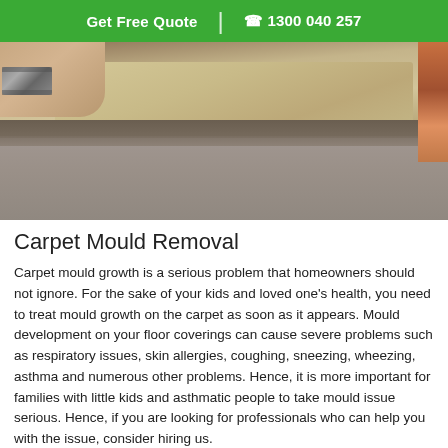Get Free Quote | 1300 040 257
[Figure (photo): Close-up photo of a carpet being lifted to show the burlap/hessian backing, with mould visible. A hand wearing a watch is holding up the corner of the carpet.]
Carpet Mould Removal
Carpet mould growth is a serious problem that homeowners should not ignore. For the sake of your kids and loved one's health, you need to treat mould growth on the carpet as soon as it appears. Mould development on your floor coverings can cause severe problems such as respiratory issues, skin allergies, coughing, sneezing, wheezing, asthma and numerous other problems. Hence, it is more important for families with little kids and asthmatic people to take mould issue serious. Hence, if you are looking for professionals who can help you with the issue, consider hiring us.